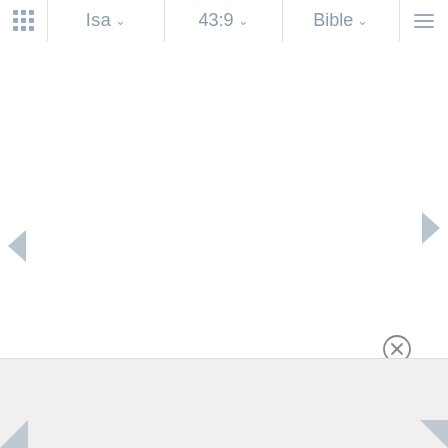[Figure (screenshot): Bible app navigation bar showing book selector 'Isa', verse selector '43:9', and 'Bible' translation selector with a grid icon and hamburger menu. Main content area is blank white. Left and right navigation arrows are visible on sides. A circular close (X) button appears near bottom right. A gray bottom panel is partially visible.]